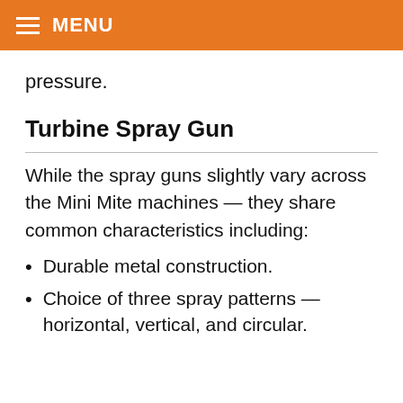MENU
pressure.
Turbine Spray Gun
While the spray guns slightly vary across the Mini Mite machines — they share common characteristics including:
Durable metal construction.
Choice of three spray patterns — horizontal, vertical, and circular.